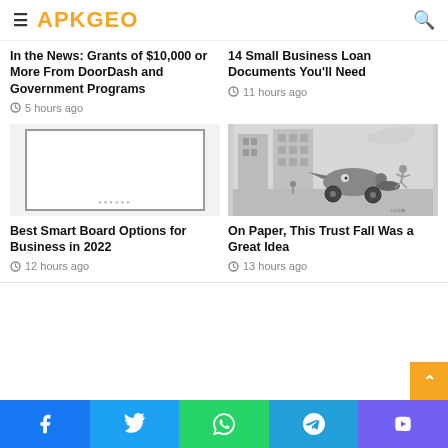APKGEO
In the News: Grants of $10,000 or More From DoorDash and Government Programs
5 hours ago
14 Small Business Loan Documents You'll Need
11 hours ago
[Figure (photo): Smart board / whiteboard display image]
Best Smart Board Options for Business in 2022
12 hours ago
[Figure (illustration): Cartoon illustration of a trust fall gone wrong on a street]
On Paper, This Trust Fall Was a Great Idea
13 hours ago